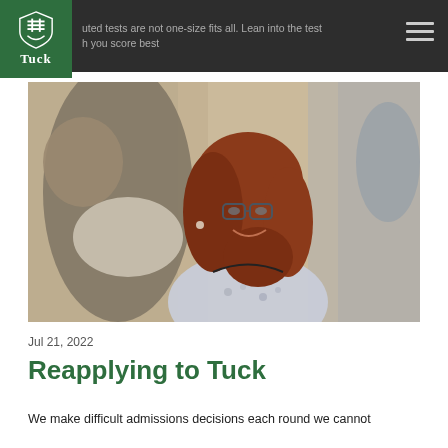Tuck
[Figure (photo): Woman with red hair and glasses smiling, in a social/networking setting, wearing a floral top]
Jul 21, 2022
Reapplying to Tuck
We make difficult admissions decisions each round we cannot